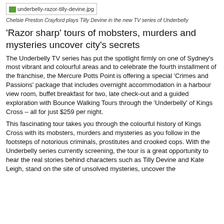[Figure (photo): Broken image placeholder showing filename: underbelly-razor-tilly-devine.jpg]
Chelsie Preston Crayford plays Tilly Devine in the new TV series of Underbelly
'Razor sharp' tours of mobsters, murders and mysteries uncover city's secrets
The Underbelly TV series has put the spotlight firmly on one of Sydney's most vibrant and colourful areas and to celebrate the fourth installment of the franchise, the Mercure Potts Point is offering a special 'Crimes and Passions' package that includes overnight accommodation in a harbour view room, buffet breakfast for two, late check-out and a guided exploration with Bounce Walking Tours through the 'Underbelly' of Kings Cross – all for just $259 per night.
This fascinating tour takes you through the colourful history of Kings Cross with its mobsters, murders and mysteries as you follow in the footsteps of notorious criminals, prostitutes and crooked cops. With the Underbelly series currently screening, the tour is a great opportunity to hear the real stories behind characters such as Tilly Devine and Kate Leigh, stand on the site of unsolved mysteries, uncover the